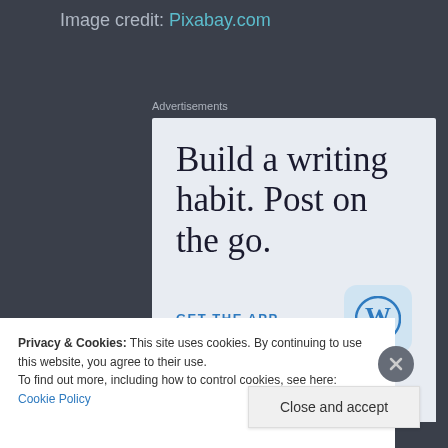Image credit: Pixabay.com
Advertisements
[Figure (screenshot): WordPress advertisement: 'Build a writing habit. Post on the go.' with GET THE APP call-to-action and WordPress logo icon]
Privacy & Cookies: This site uses cookies. By continuing to use this website, you agree to their use.
To find out more, including how to control cookies, see here: Cookie Policy
Close and accept